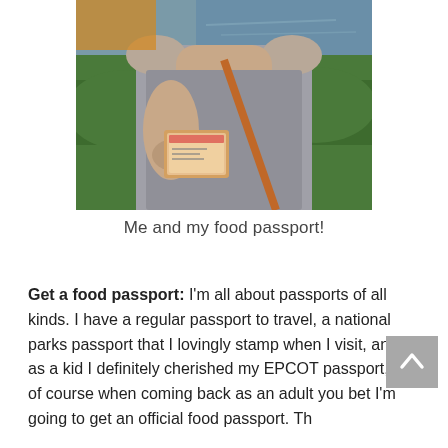[Figure (photo): A woman in a gray tank top holding up a food passport in a plastic sleeve, with a brown crossbody bag strap visible. Green bushes and water visible in background.]
Me and my food passport!
Get a food passport: I'm all about passports of all kinds. I have a regular passport to travel, a national parks passport that I lovingly stamp when I visit, and as a kid I definitely cherished my EPCOT passport, so of course when coming back as an adult you bet I'm going to get an official food passport. Th...